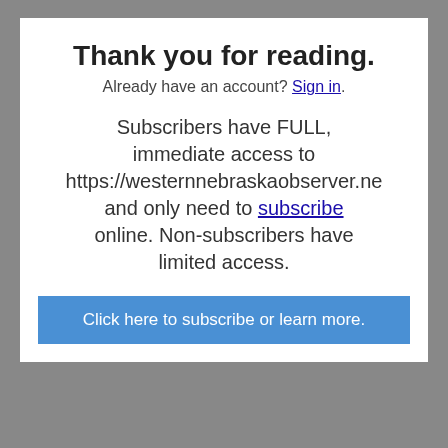Thank you for reading.
Already have an account? Sign in.
Subscribers have FULL, immediate access to https://westernnebraskaobserver.ne and only need to subscribe online. Non-subscribers have limited access.
Click here to subscribe or learn more.